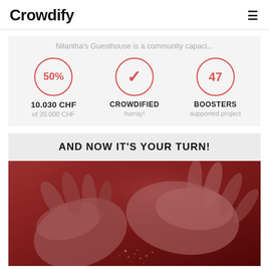Crowdify
Nilantha's Guesthouse is a community capaci...
50%
10.030 CHF
of 20.000 CHF
✓ CROWDIFIED
hurray!
47
BOOSTERS
supported project
AND NOW IT'S YOUR TURN!
[Figure (photo): Close-up of two hands with a red color overlay, appearing to clap or release something (dust/sand), on a dark red background.]